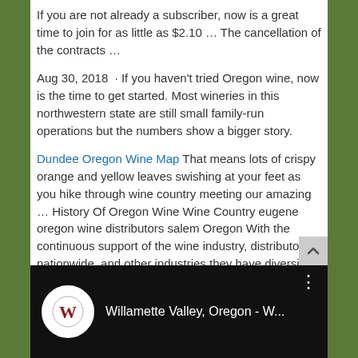If you are not already a subscriber, now is a great time to join for as little as $2.10 … The cancellation of the contracts …
Aug 30, 2018  · If you haven't tried Oregon wine, now is the time to get started. Most wineries in this northwestern state are still small family-run operations but the numbers show a bigger story.
Dundee Oregon Wine Map That means lots of crispy orange and yellow leaves swishing at your feet as you hike through wine country meeting our amazing … History Of Oregon Wine Wine Country eugene oregon wine distributors salem Oregon With the continuous support of the wine industry, distributors nationwide, and other industries they have diversified into, Northwest Distribution &
[Figure (screenshot): Video thumbnail showing Willamette Valley, Oregon - W... with a W logo on black background]